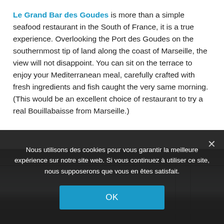Le Grand Bar des Goudes is more than a simple seafood restaurant in the South of France, it is a true experience. Overlooking the Port des Goudes on the southernmost tip of land along the coast of Marseille, the view will not disappoint. You can sit on the terrace to enjoy your Mediterranean meal, carefully crafted with fresh ingredients and fish caught the very same morning. (This would be an excellent choice of restaurant to try a real Bouillabaisse from Marseille.)
[Figure (photo): Partial photo of Le Grand Bar des Goudes restaurant terrace/exterior, showing roof structure and glass/wall, mostly obscured by cookie consent overlay]
Nous utilisons des cookies pour vous garantir la meilleure expérience sur notre site web. Si vous continuez à utiliser ce site, nous supposerons que vous en êtes satisfait.
OK